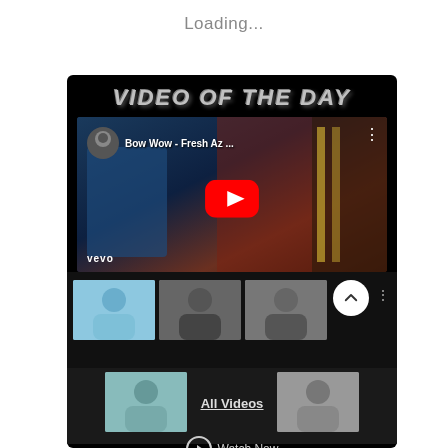Loading...
[Figure (screenshot): Mobile app screenshot showing 'VIDEO OF THE DAY' section with a YouTube video embed for 'Bow Wow - Fresh Az...' with the Vevo logo, a red YouTube play button, and a grid of video thumbnails below with 'All Videos' link and 'Watch Now' button.]